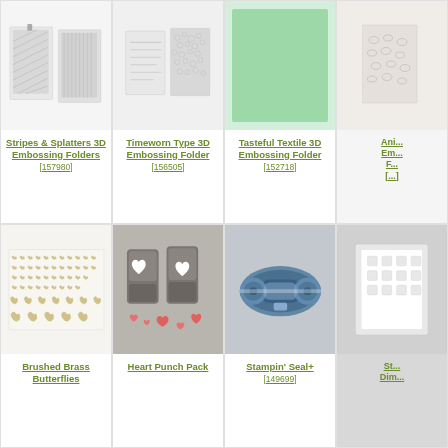[Figure (photo): Stripes & Splatters 3D Embossing Folders product image showing embossed sheets]
Stripes & Splatters 3D Embossing Folders
[157980]
[Figure (photo): Timeworn Type 3D Embossing Folder product image showing embossed textured sheet]
Timeworn Type 3D Embossing Folder
[156505]
[Figure (photo): Tasteful Textile 3D Embossing Folder product image showing green textured sheet]
Tasteful Textile 3D Embossing Folder
[152718]
[Figure (photo): Animal 3D Embossing Folder product image (partially visible)]
Ani... Em... F... [...
[Figure (photo): Brushed Brass Butterflies product image showing butterfly embellishments sheet]
Brushed Brass Butterflies
[Figure (photo): Heart Punch Pack product image showing heart punch tool and punched hearts]
Heart Punch Pack
[Figure (photo): Stampin' Seal+ product image showing adhesive tape runner]
Stampin' Seal+
[149699]
[Figure (photo): Stampin' Dimensionals product image (partially visible)]
St... Dim...